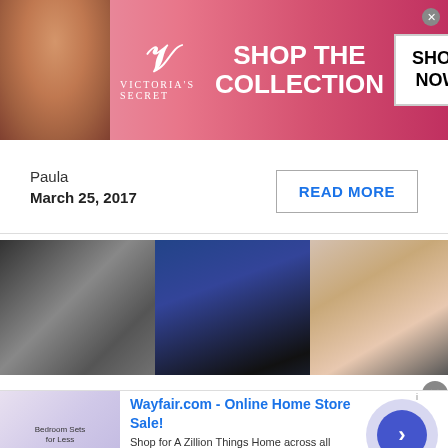[Figure (photo): Victoria's Secret advertisement banner with model, VS logo, 'SHOP THE COLLECTION' text, and 'SHOP NOW' button on pink background]
Paula
March 25, 2017
READ MORE
[Figure (photo): Three-panel photo strip: left panel black and white photo of people in a room, center panel color photo of woman in black hoodie laughing, right panel color photo of woman in black robe posing]
RIHANNA AND RIHANNA NAVY CELEBRATE
[Figure (photo): Wayfair.com advertisement: Online Home Store Sale - Shop for A Zillion Things Home across all styles at Wayfair! www.wayfair.com]